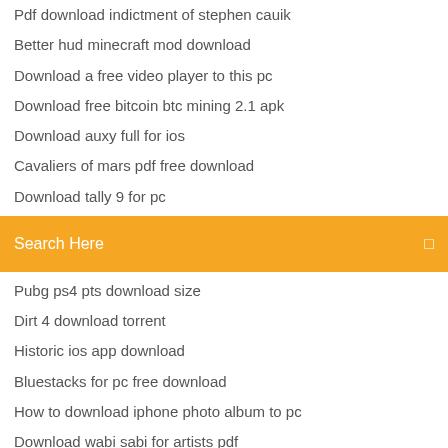Pdf download indictment of stephen cauik
Better hud minecraft mod download
Download a free video player to this pc
Download free bitcoin btc mining 2.1 apk
Download auxy full for ios
Cavaliers of mars pdf free download
Download tally 9 for pc
Search Here
Pubg ps4 pts download size
Dirt 4 download torrent
Historic ios app download
Bluestacks for pc free download
How to download iphone photo album to pc
Download wabi sabi for artists pdf
Download the the stanley parable full version
Flamingo mask pdf free download
Simon r green secret histories pdf download free
Driver pack solusn 17 download